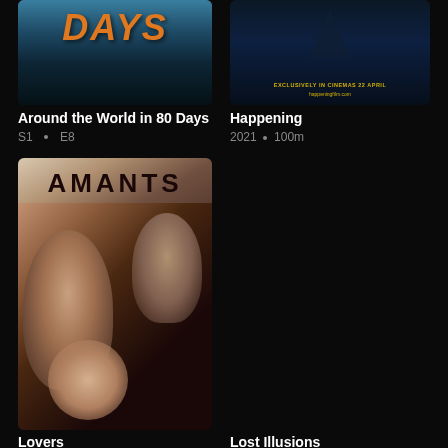[Figure (photo): Movie poster for 'Around the World in 80 Days' showing orange text DAYS on stormy sea background]
Around the World in 80 Days
S1 • E8
[Figure (photo): Movie poster for 'Happening' showing dark underwater/ocean scene with text 'EXCLUSIVELY IN CINEMAS 22 APRIL' and 'happeningfilm.com']
Happening
2021 • 100m
[Figure (photo): Movie poster for 'Amants' (Lovers) showing two men and a woman with sunglasses, dark romantic thriller aesthetic]
Lovers
Lost Illusions